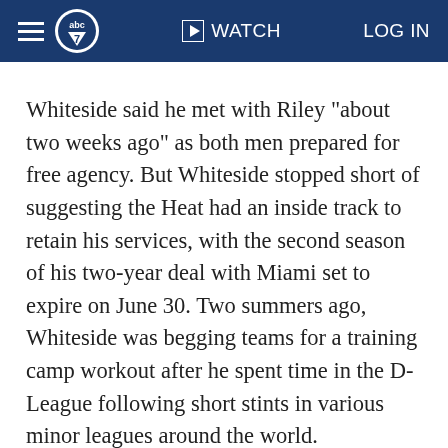abc7 | WATCH | LOG IN
Whiteside said he met with Riley "about two weeks ago" as both men prepared for free agency. But Whiteside stopped short of suggesting the Heat had an inside track to retain his services, with the second season of his two-year deal with Miami set to expire on June 30. Two summers ago, Whiteside was begging teams for a training camp workout after he spent time in the D-League following short stints in various minor leagues around the world.